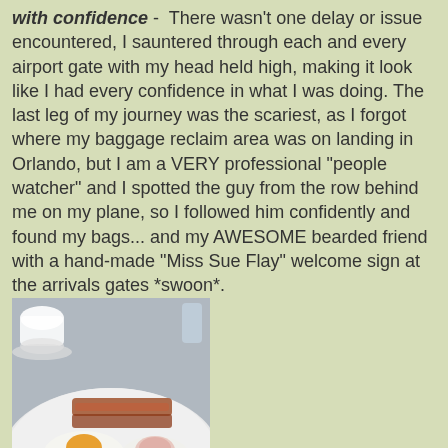with confidence - There wasn't one delay or issue encountered, I sauntered through each and every airport gate with my head held high, making it look like I had every confidence in what I was doing. The last leg of my journey was the scariest, as I forgot where my baggage reclaim area was on landing in Orlando, but I am a VERY professional "people watcher" and I spotted the guy from the row behind me on my plane, so I followed him confidently and found my bags... and my AWESOME bearded friend with a hand-made "Miss Sue Flay" welcome sign at the arrivals gates *swoon*.
[Figure (photo): A plate with two poached eggs on English muffins, one with orange yolk dripping down, alongside bacon, with a coffee cup in the background.]
▽ Keep hydrated & freshen up where you can - I drank water everywhere I